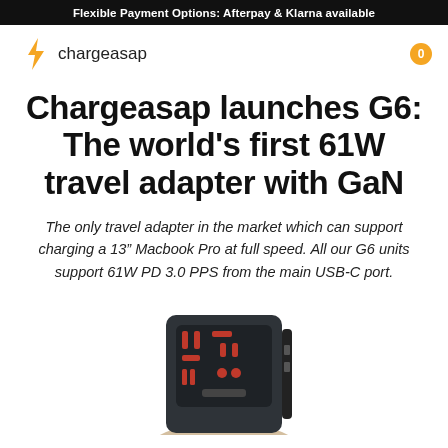Flexible Payment Options: Afterpay & Klarna available
[Figure (logo): Chargeasap logo with orange lightning bolt and brand name]
Chargeasap launches G6: The world's first 61W travel adapter with GaN
The only travel adapter in the market which can support charging a 13" Macbook Pro at full speed. All our G6 units support 61W PD 3.0 PPS from the main USB-C port.
[Figure (photo): Dark-colored G6 travel adapter with universal socket outlets, shown being held in hand against white background, partially cropped at bottom of page]